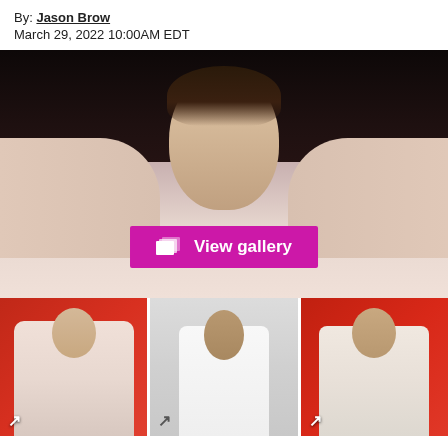By: Jason Brow
March 29, 2022 10:00AM EDT
[Figure (photo): Young man with dark hair wearing a pink shirt, hands clasped behind head, with tattoos visible on forearms, against a dark background. A magenta 'View gallery' button overlay is centered near the bottom of the image.]
[Figure (photo): Person in pink/cream hoodie sitting on couch against red background, gesturing with hand]
[Figure (photo): Person in white sleeveless knit top standing against light gray background]
[Figure (photo): Person in light pink hoodie with chain necklace against red background]